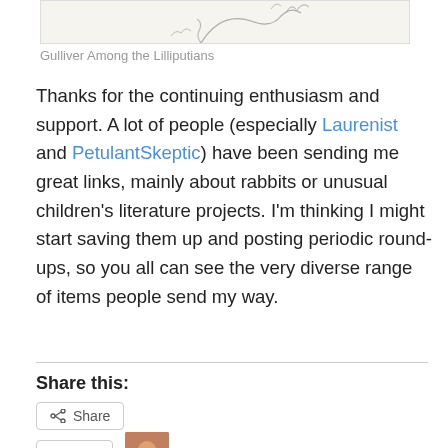[Figure (illustration): Partial illustration of Gulliver Among the Lilliputians — pencil sketch showing a large figure with small figures around, cropped at top]
Gulliver Among the Lilliputians
Thanks for the continuing enthusiasm and support. A lot of people (especially Laurenist and PetulantSkeptic) have been sending me great links, mainly about rabbits or unusual children's literature projects. I'm thinking I might start saving them up and posting periodic round-ups, so you all can see the very diverse range of items people send my way.
Share this:
Share
Like
One blogger likes this.